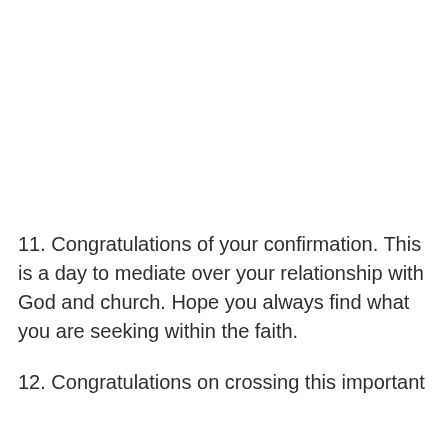11. Congratulations of your confirmation. This is a day to mediate over your relationship with God and church. Hope you always find what you are seeking within the faith.
12. Congratulations on crossing this important milestone in your spiritual life.